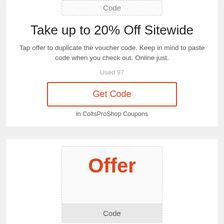Code
Take up to 20% Off Sitewide
Tap offer to duplicate the voucher code. Keep in mind to paste code when you check out. Online just.
Used 97
Get Code
in ColtsProShop Coupons
[Figure (other): Offer badge box with dashed border showing 'Offer' in red and 'Code' in gray area below]
Free Shipping on Orders Over $49